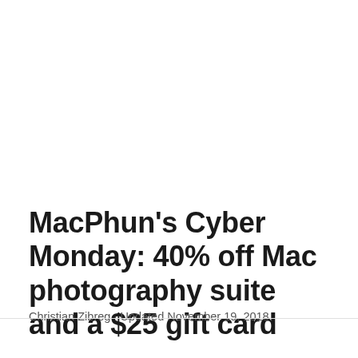MacPhun's Cyber Monday: 40% off Mac photography suite and a $25 gift card
Christian Zibreg · Updated November 19, 2018